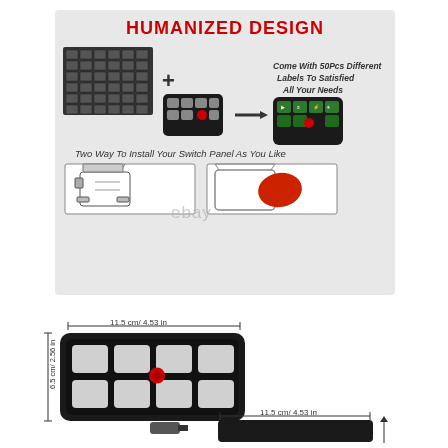[Figure (infographic): Humanized Design infographic showing label sheet plus switch panel equals labeled switch panel, with two installation methods: Use Bracket (A) and Use Tape (B). Text reads 'Come With 50Pcs Different Labels To Satisfied All Your Needs' and 'Two Way To Install Your Switch Panel As You Like'. A: Use Bracket, B: Use Tape.]
[Figure (engineering-diagram): Dimension diagram of switch panel showing width 11.5 cm / 4.53 in and height 6.5 cm / 2.56 in, with top-down view of 8-button panel with red center button.]
[Figure (engineering-diagram): Partial dimension diagram at bottom showing width 11.5 cm / 4.53 in with arrow, and partial view of switch panel and connector cable.]